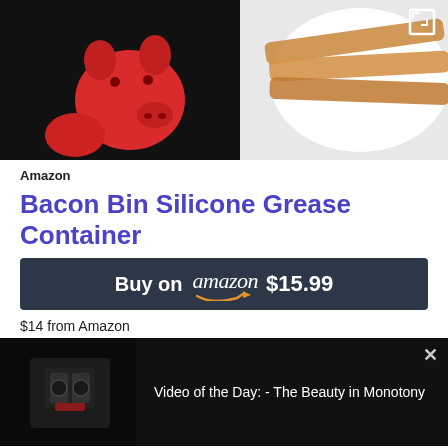[Figure (photo): Product photo showing red silicone pig-shaped grease containers and strips of cooked bacon on a white plate, against a black background. A white expand/fullscreen icon appears in the top-right corner.]
Amazon
Bacon Bin Silicone Grease Container
[Figure (other): Dark navy blue buy button reading 'Buy on amazon $15.99' with the Amazon logo including orange smile underline]
$14 from Amazon
[Figure (screenshot): Video overlay panel with black background. Left side shows a dark thumbnail of machinery/engine. Right side shows text 'Video of the Day: - The Beauty in Monotony'. Close X button in top right.]
the sink! Pour it into this 1-cup silicone Bacon Bin and save it for later use.